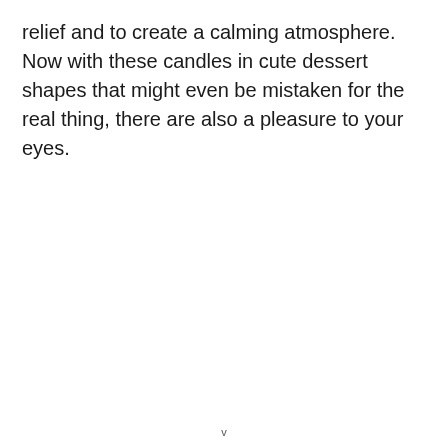relief and to create a calming atmosphere. Now with these candles in cute dessert shapes that might even be mistaken for the real thing, there are also a pleasure to your eyes.
v